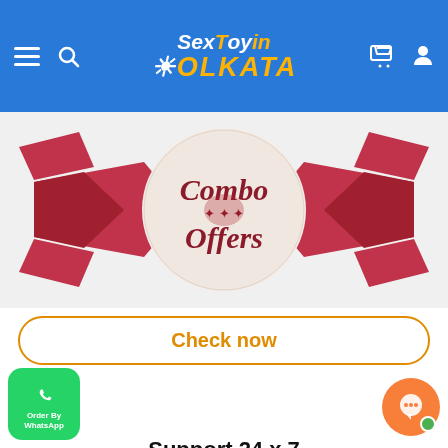SexToyinKOLKATA — navigation header with logo, hamburger menu, search, cart, and user icons
[Figure (illustration): Combo Offers banner with red decorative ribbon bow and circular badge in center reading 'Combo Offers' in cursive script]
Check now
[Figure (other): Back to top button with upward chevron arrow]
Support 24 x 7
We are excited to share that launching free 24 x 7 support that is great for all our beloved customers.
[Figure (logo): Order By WhatsApp green button bottom left]
[Figure (other): Orange chat bubble button bottom right with green online indicator]